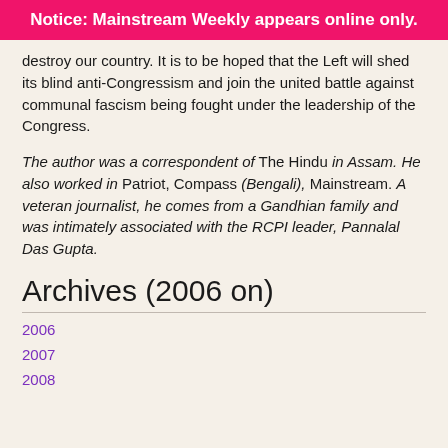Notice: Mainstream Weekly appears online only.
destroy our country. It is to be hoped that the Left will shed its blind anti-Congressism and join the united battle against communal fascism being fought under the leadership of the Congress.
The author was a correspondent of The Hindu in Assam. He also worked in Patriot, Compass (Bengali), Mainstream. A veteran journalist, he comes from a Gandhian family and was intimately associated with the RCPI leader, Pannalal Das Gupta.
Archives (2006 on)
2006
2007
2008